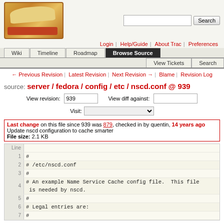Trac source browser - server/fedora/config/etc/nscd.conf @ 939
← Previous Revision | Latest Revision | Next Revision → | Blame | Revision Log
source: server / fedora / config / etc / nscd.conf @ 939
View revision: 939   View diff against:   Visit:
Last change on this file since 939 was 879, checked in by quentin, 14 years ago
Update nscd configuration to cache smarter
File size: 2.1 KB
| Line |  |
| --- | --- |
| 1 | # |
| 2 | # /etc/nscd.conf |
| 3 | # |
| 4 | # An example Name Service Cache config file.  This file is needed by nscd. |
| 5 | # |
| 6 | # Legal entries are: |
| 7 | # |